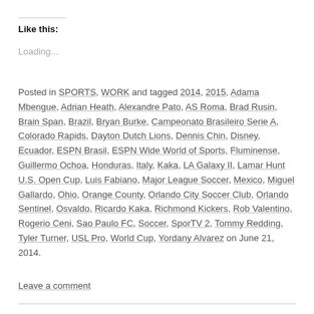Like this:
Loading...
Posted in SPORTS, WORK and tagged 2014, 2015, Adama Mbengue, Adrian Heath, Alexandre Pato, AS Roma, Brad Rusin, Brain Span, Brazil, Bryan Burke, Campeonato Brasileiro Serie A, Colorado Rapids, Dayton Dutch Lions, Dennis Chin, Disney, Ecuador, ESPN Brasil, ESPN Wide World of Sports, Fluminense, Guillermo Ochoa, Honduras, Italy, Kaka, LA Galaxy II, Lamar Hunt U.S. Open Cup, Luis Fabiano, Major League Soccer, Mexico, Miguel Gallardo, Ohio, Orange County, Orlando City Soccer Club, Orlando Sentinel, Osvaldo, Ricardo Kaka, Richmond Kickers, Rob Valentino, Rogerio Ceni, Sao Paulo FC, Soccer, SporTV 2, Tommy Redding, Tyler Turner, USL Pro, World Cup, Yordany Alvarez on June 21, 2014.
Leave a comment